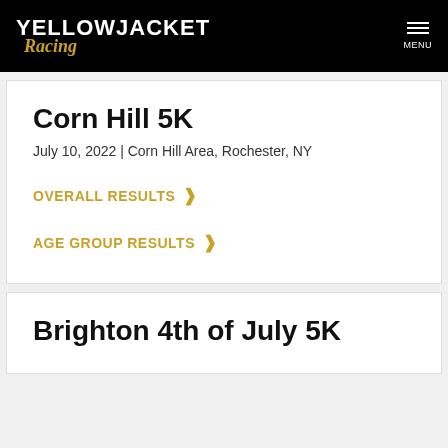YELLOWJACKET Racing | MENU
Corn Hill 5K
July 10, 2022 | Corn Hill Area, Rochester, NY
OVERALL RESULTS ›
AGE GROUP RESULTS ›
Brighton 4th of July 5K